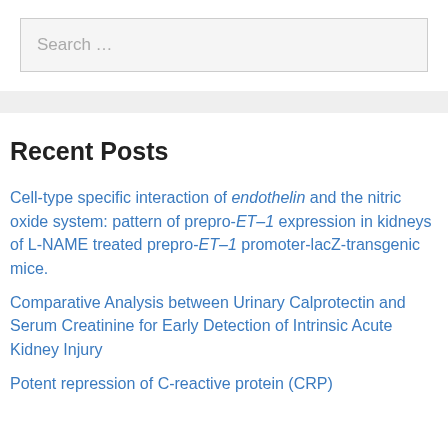Search …
Recent Posts
Cell-type specific interaction of endothelin and the nitric oxide system: pattern of prepro-ET–1 expression in kidneys of L-NAME treated prepro-ET–1 promoter-lacZ-transgenic mice.
Comparative Analysis between Urinary Calprotectin and Serum Creatinine for Early Detection of Intrinsic Acute Kidney Injury
Potent repression of C-reactive protein (CRP)